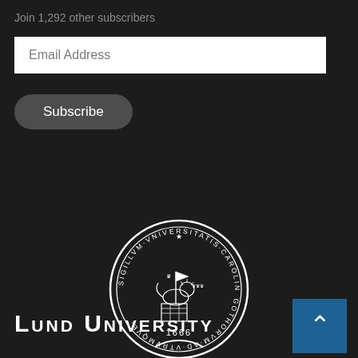Join 1,292 other subscribers
Email Address
Subscribe
[Figure (logo): Lund University circular seal/crest with Latin text 'SIGILLVM VNIVERSITATIS CAROLINAE GOTHORVM' and the year 1666, featuring a lion with a flag in the center, rendered in white on dark background]
LUND UNIVERSITY
[Figure (logo): Partial view of another circular seal at the bottom of the page, partially cut off]